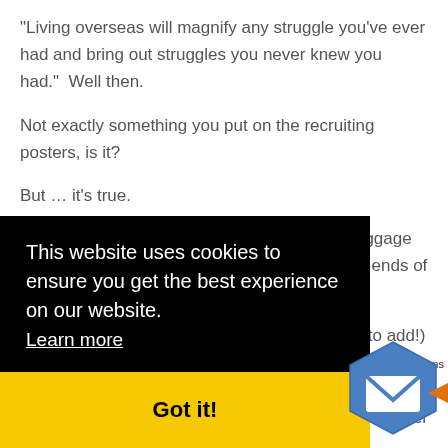"Living overseas will magnify any struggle you've ever had and bring out struggles you never knew you had."  Well then.
Not exactly something you put on the recruiting posters, is it?
But … it's true.
So here's a few words about the emotional baggage we all unintentionally drag along with us to the ends of the earth…
(Looking forward to hearing what you all have to add!)
This website uses cookies to ensure you get the best experience on our website.
Learn more
Got it!
2.  Let God speak   Regardless of how prepared you are, you are